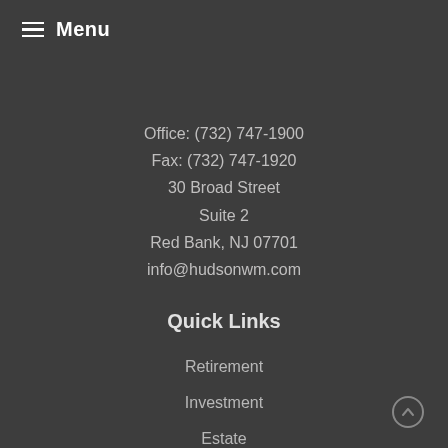Menu
Office:  (732) 747-1900
Fax:  (732) 747-1920
30 Broad Street
Suite 2
Red Bank, NJ 07701
info@hudsonwm.com
Quick Links
Retirement
Investment
Estate
Insurance
Tax